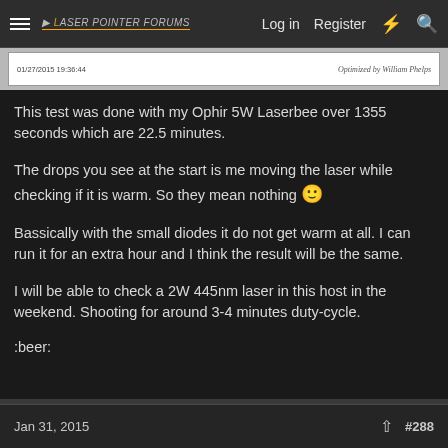Laser Pointer Forums | Log in | Register
[Figure (screenshot): Partial screenshot of a graph/chart with date 01/27/2015 19:36:44 and watermark 'Optimized by William Phelps']
This test was done with my Ophir 5W Laserbee over 1355 seconds which are 22.5 minutes.
The drops you see at the start is me moving the laser while checking if it is warm. So they mean nothing 🙂
Bassically with the small diodes it do not get warm at all. I can run it for an extra hour and I think the result will be the same.
I will be able to check a 2W 445nm laser in this host in the weekend. Shooting for around 3-4 minutes duty-cycle.
:beer:
Jan 31, 2015  #288